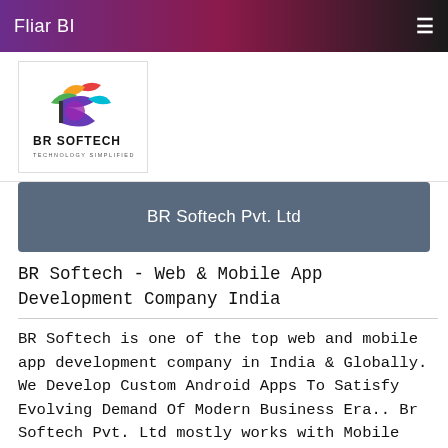Fliar BI
[Figure (logo): BR Softech logo with colorful bird/letter B design and text 'BR SOFTECH TECHNOLOGY SIMPLIFIED']
BR Softech Pvt. Ltd
BR Softech - Web & Mobile App Development Company India
BR Softech is one of the top web and mobile app development company in India & Globally. We Develop Custom Android Apps To Satisfy Evolving Demand Of Modern Business Era.. Br Softech Pvt. Ltd mostly works with Mobile App, Web Development and Game Development. View More